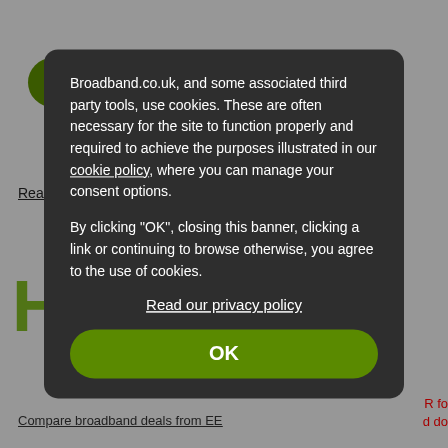[Figure (screenshot): A 'Visit EE' green rounded button on a light grey background]
Read our EE buyers guide
Broadband.co.uk, and some associated third party tools, use cookies. These are often necessary for the site to function properly and required to achieve the purposes illustrated in our cookie policy, where you can manage your consent options.

By clicking "OK", closing this banner, clicking a link or continuing to browse otherwise, you agree to the use of cookies.
Read our privacy policy
OK
Compare broadband deals from EE